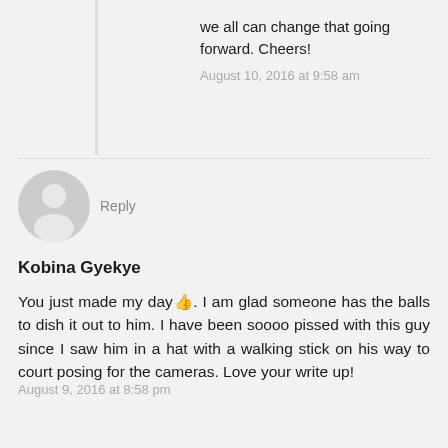we all can change that going forward. Cheers!
August 10, 2016 at 9:58 am
Reply
Kobina Gyekye
You just made my day👍. I am glad someone has the balls to dish it out to him. I have been soooo pissed with this guy since I saw him in a hat with a walking stick on his way to court posing for the cameras. Love your write up!
August 9, 2016 at 8:58 pm